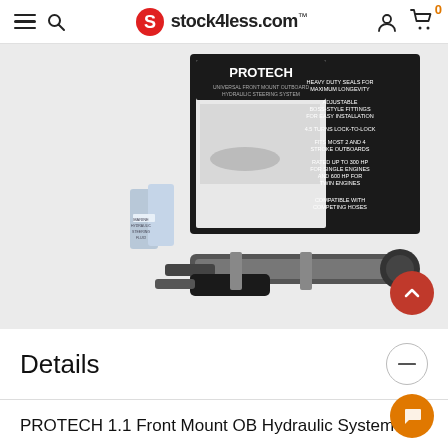stock4less.com
[Figure (photo): Product photo of PROTECH Universal Front Mount Outboard Hydraulic Steering System kit with components including hydraulic cylinder, pump, fluid bottles, and product packaging box with text and diagrams.]
Details
PROTECH 1.1 Front Mount OB Hydraulic System -